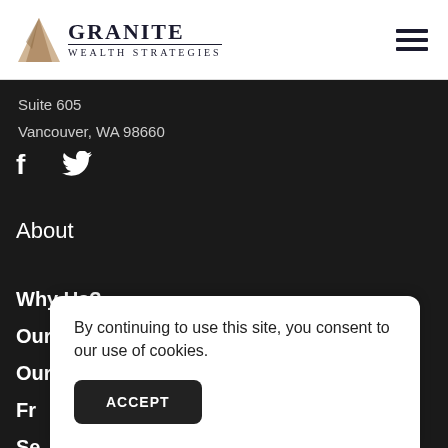[Figure (logo): Granite Wealth Strategies logo with triangle/mountain icon and company name]
Suite 605
Vancouver, WA 98660
[Figure (illustration): Social media icons: Facebook (f) and Twitter (bird)]
About
Why Us?
Our Team
Our Partners
Fr...
Se...
By continuing to use this site, you consent to our use of cookies.